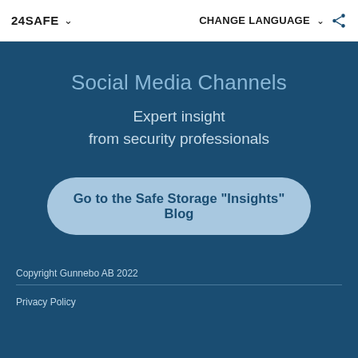24SAFE  ∨   CHANGE LANGUAGE ∨
Social Media Channels
Expert insight from security professionals
Go to the Safe Storage "Insights" Blog
Copyright Gunnebo AB 2022
Privacy Policy